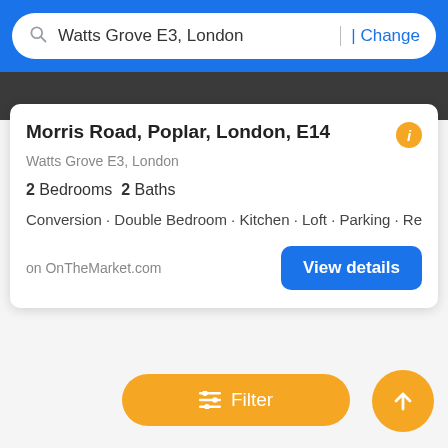Watts Grove E3, London | Change
Morris Road, Poplar, London, E14
Watts Grove E3, London
2 Bedrooms  2 Baths
Conversion · Double Bedroom · Kitchen · Loft · Parking · Reception
on OnTheMarket.com
View details
Filter